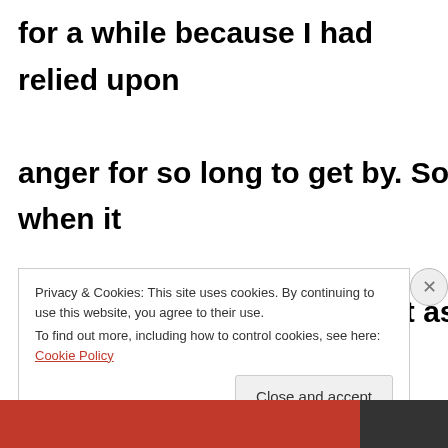for a while because I had relied upon anger for so long to get by. So when it came she suggested I see it as an illusion and unreal. Whenever I had these feeling come up, to say 'you are
Privacy & Cookies: This site uses cookies. By continuing to use this website, you agree to their use.
To find out more, including how to control cookies, see here: Cookie Policy
Close and accept